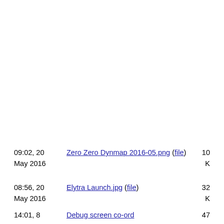09:02, 20 May 2016  Zero Zero Dynmap 2016-05.png (file)  10 K
08:56, 20 May 2016  Elytra Launch.jpg (file)  32 K
14:01, 8  Debug screen co-ord  47